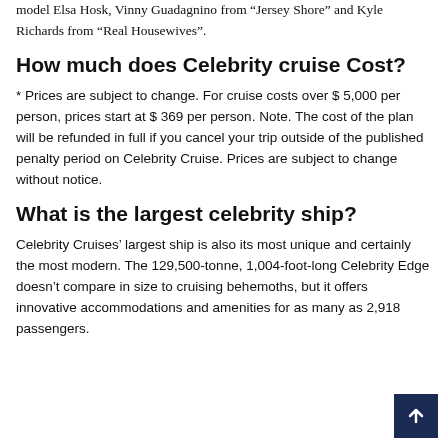model Elsa Hosk, Vinny Guadagnino from “Jersey Shore” and Kyle Richards from “Real Housewives”.
How much does Celebrity cruise Cost?
* Prices are subject to change. For cruise costs over $ 5,000 per person, prices start at $ 369 per person. Note. The cost of the plan will be refunded in full if you cancel your trip outside of the published penalty period on Celebrity Cruise. Prices are subject to change without notice.
What is the largest celebrity ship?
Celebrity Cruises’ largest ship is also its most unique and certainly the most modern. The 129,500-tonne, 1,004-foot-long Celebrity Edge doesn’t compare in size to cruising behemoths, but it offers innovative accommodations and amenities for as many as 2,918 passengers.